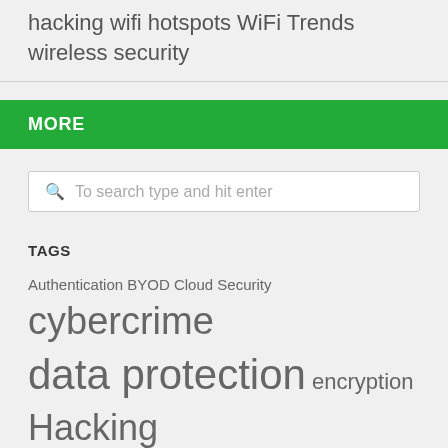hacking wifi hotspots WiFi Trends wireless security
MORE
To search type and hit enter
TAGS
Authentication BYOD Cloud Security cybercrime data protection encryption Hacking Threats identity theft Mobile App mobile apps Mobile Devices network security Online Payments online privacy online security